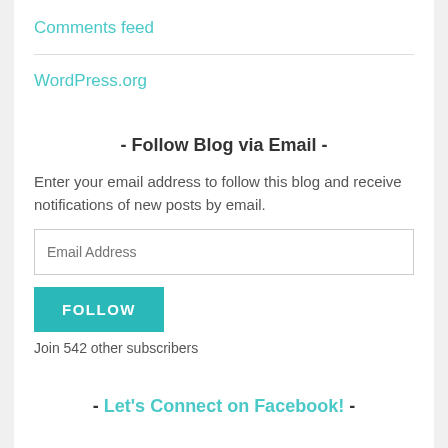Comments feed
WordPress.org
- Follow Blog via Email -
Enter your email address to follow this blog and receive notifications of new posts by email.
Email Address
FOLLOW
Join 542 other subscribers
- Let's Connect on Facebook! -